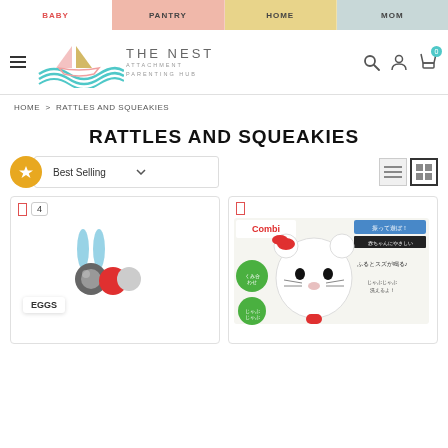BABY | PANTRY | HOME | MOM
[Figure (logo): The Nest Attachment Parenting Hub logo with teal wave and boat graphic]
HOME > RATTLES AND SQUEAKIES
RATTLES AND SQUEAKIES
Best Selling (dropdown filter)
[Figure (screenshot): Product card 1: EGGS rattle toy with blue bunny ears, count badge showing 4]
[Figure (screenshot): Product card 2: Combi Hello Kitty rattle toy in product packaging]